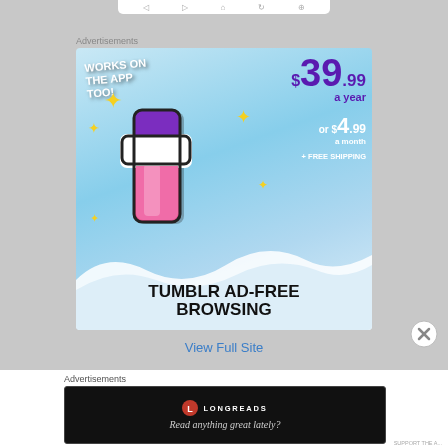[Figure (screenshot): Top partial bar/navigation element, white rounded rectangle on gray background]
Advertisements
[Figure (illustration): Tumblr Ad-Free Browsing advertisement. Blue sky background with Tumblr 't' logo in pink/purple. Text: WORKS ON THE APP TOO!, $39.99 a year or $4.99 a month + FREE SHIPPING. Bottom text: TUMBLR AD-FREE BROWSING.]
View Full Site
Advertisements
[Figure (screenshot): Longreads advertisement on black background. Longreads logo (red circle with L) and text: Read anything great lately?]